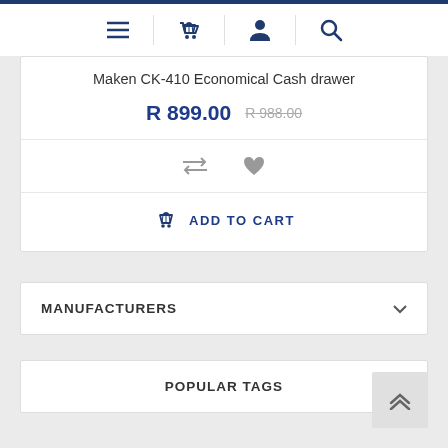Navigation bar with menu, cart, account, and search icons
Maken CK-410 Economical Cash drawer
R 899.00   R 988.00
[Figure (other): Compare and wishlist action icons row]
[Figure (other): Add to cart button with basket icon]
MANUFACTURERS
POPULAR TAGS